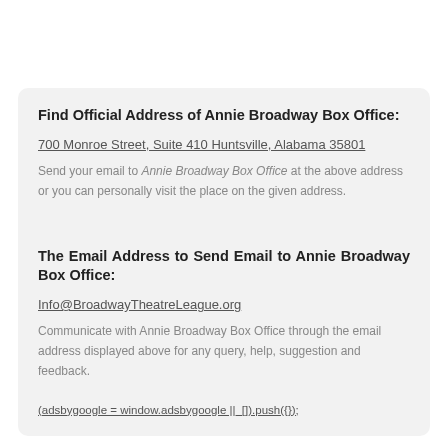Find Official Address of Annie Broadway Box Office:
700 Monroe Street, Suite 410 Huntsville, Alabama 35801
Send your email to Annie Broadway Box Office at the above address or you can personally visit the place on the given address.
The Email Address to Send Email to Annie Broadway Box Office:
Info@BroadwayTheatreLeague.org
Communicate with Annie Broadway Box Office through the email address displayed above for any query, help, suggestion and feedback.
(adsbygoogle = window.adsbygoogle ||_[]).push({});